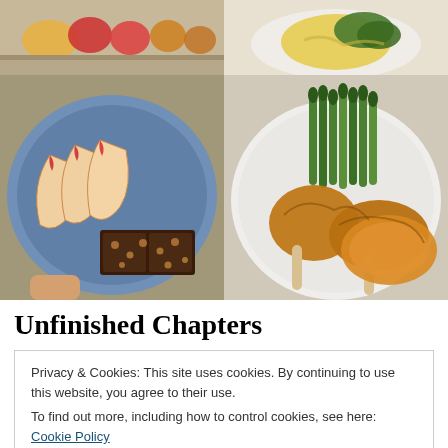[Figure (photo): Grid of food photos: top-left shows fruits/snacks on counter, top-right shows scrambled eggs with greens, bottom-left shows apple slices and chocolate bar on blue plate, bottom-right shows roasted chicken legs with asparagus and sweet potato on white plate]
Unfinished Chapters
Privacy & Cookies: This site uses cookies. By continuing to use this website, you agree to their use.
To find out more, including how to control cookies, see here: Cookie Policy
Close and accept
201.6, always close but never quite there. I was so